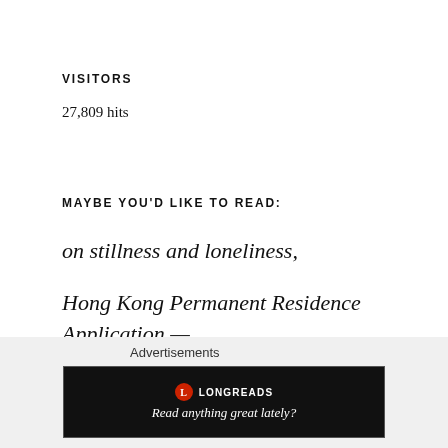VISITORS
27,809 hits
MAYBE YOU'D LIKE TO READ:
on stillness and loneliness,
Hong Kong Permanent Residence Application — #7YEARSin7MINS
Advertisements
[Figure (other): Longreads advertisement banner: circular red logo with L, text LONGREADS, tagline Read anything great lately? on black background]